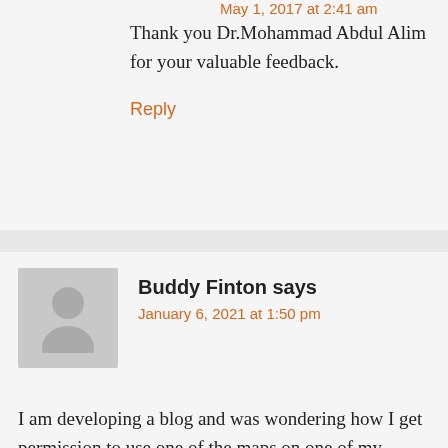May 1, 2017 at 2:41 am
Thank you Dr.Mohammad Abdul Alim for your valuable feedback.
Reply
Buddy Finton says
January 6, 2021 at 1:50 pm
I am developing a blog and was wondering how I get permission to use one of the maps on one of my